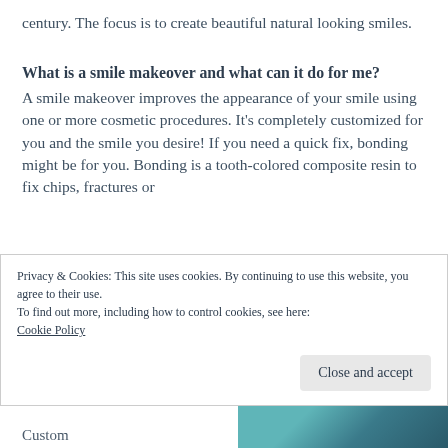century. The focus is to create beautiful natural looking smiles.
What is a smile makeover and what can it do for me?
A smile makeover improves the appearance of your smile using one or more cosmetic procedures. It's completely customized for you and the smile you desire! If you need a quick fix, bonding might be for you. Bonding is a tooth-colored composite resin to fix chips, fractures or
Privacy & Cookies: This site uses cookies. By continuing to use this website, you agree to their use.
To find out more, including how to control cookies, see here:
Cookie Policy
Close and accept
Custom